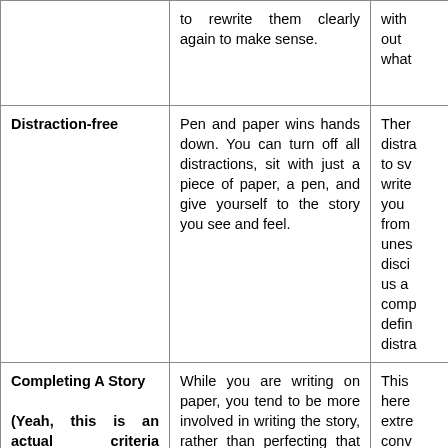|  | Pen and Paper | Digital (partial) |
| --- | --- | --- |
|  | to rewrite them clearly again to make sense. | with out what |
| Distraction-free | Pen and paper wins hands down. You can turn off all distractions, sit with just a piece of paper, a pen, and give yourself to the story you see and feel. | Ther distra to sv write you from unes disci us a comp defin distra |
| Completing A Story

(Yeah, this is an actual criteria because one in a hundred story ideas actually reach the final form) | While you are writing on paper, you tend to be more involved in writing the story, rather than perfecting that one paragraph that you have managed to write. The story and your idea flows | This here extre conv and scen story |